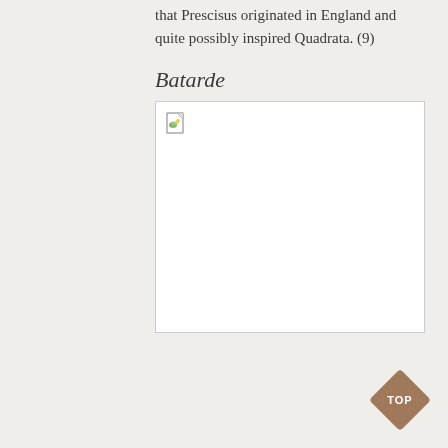that Prescisus originated in England and quite possibly inspired Quadrata. (9)
Batarde
[Figure (photo): Broken image placeholder for a Batarde script example]